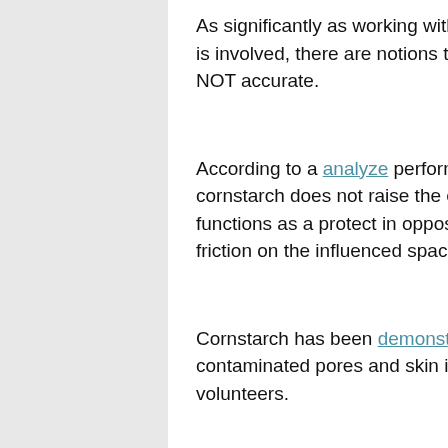As significantly as working with cornstarch on diaper rashes prompted by yeast is involved, there are notions that it may aggravate it more. Having said that, it is NOT accurate.
According to a analyze performed by J.J.Leyden in 1984, it was found that cornstarch does not raise the expansion of yeast on skin as a substitute it functions as a protect in opposition to accidents that could be brought on by friction on the influenced space of the skin.
Cornstarch has been demonstrated to decrease frictional rashes (yeast-contaminated pores and skin is purple and sore) experimentally induced in volunteers.
Between the other explanations at the rear of the